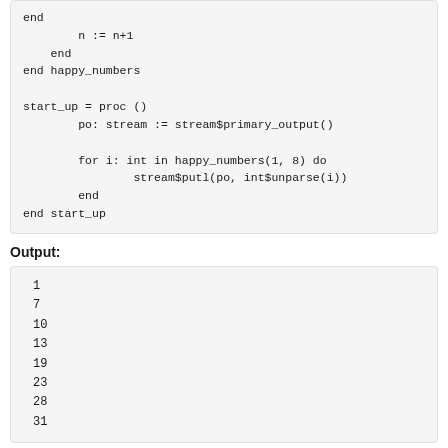end
    n := n+1
end
end happy_numbers

start_up = proc ()
    po: stream := stream$primary_output()

    for i: int in happy_numbers(1, 8) do
        stream$putl(po, int$unparse(i))
    end
end start_up
Output:
1
7
10
13
19
23
28
31